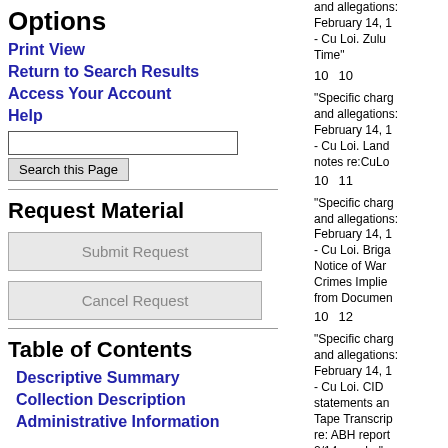Options
Print View
Return to Search Results
Access Your Account
Help
Request Material
Table of Contents
Descriptive Summary
Collection Description
Administrative Information
"Specific charg… and allegations… February 14, 1… - Cu Loi. Zulu Time"  10  10
"Specific charg… and allegations… February 14, 1… - Cu Loi. Land… notes re:CuLo…  10  11
"Specific charg… and allegations… February 14, 1… - Cu Loi. Briga… Notice of War… Crimes Implie… from Documen…  10  12
"Specific charg… and allegations… February 14, 1… - Cu Loi. CID… statements an… Tape Transcrip… re: ABH report… 2/14 murder"  10  13
"Specific charg… and allegations…